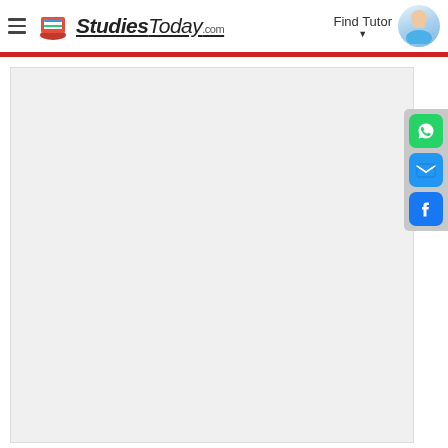StudiesToday.com — Find Tutor
[Figure (screenshot): Large light gray content area placeholder box]
[Figure (infographic): Social sharing sidebar with WhatsApp (green), Email (blue), and Facebook (blue) icon buttons]